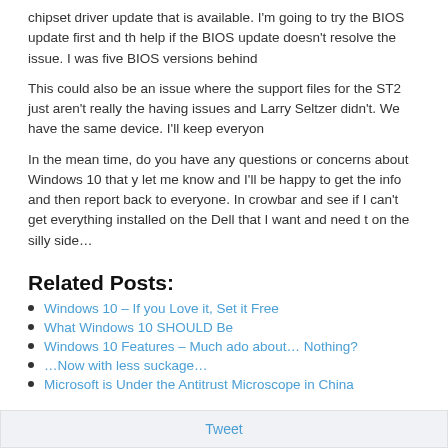chipset driver update that is available. I'm going to try the BIOS update first and th help if the BIOS update doesn't resolve the issue. I was five BIOS versions behind
This could also be an issue where the support files for the ST2 just aren't really the having issues and Larry Seltzer didn't. We have the same device. I'll keep everyon
In the mean time, do you have any questions or concerns about Windows 10 that y let me know and I'll be happy to get the info and then report back to everyone. In crowbar and see if I can't get everything installed on the Dell that I want and need t on the silly side…
Related Posts:
Windows 10 – If you Love it, Set it Free
What Windows 10 SHOULD Be
Windows 10 Features – Much ado about… Nothing?
…Now with less suckage…
Microsoft is Under the Antitrust Microscope in China
Tweet
0 Comments   Soft32 - Blog   🔒 Disqus' Privacy Policy
♡ Favorite   Tweet   f Share